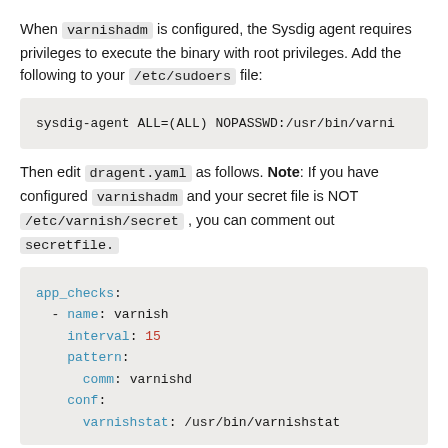When varnishadm is configured, the Sysdig agent requires privileges to execute the binary with root privileges. Add the following to your /etc/sudoers file:
sysdig-agent ALL=(ALL) NOPASSWD:/usr/bin/varni
Then edit dragent.yaml as follows. Note: If you have configured varnishadm and your secret file is NOT /etc/varnish/secret , you can comment out secretfile.
app_checks:
  - name: varnish
    interval: 15
    pattern:
      comm: varnishd
    conf:
      varnishstat: /usr/bin/varnishstat